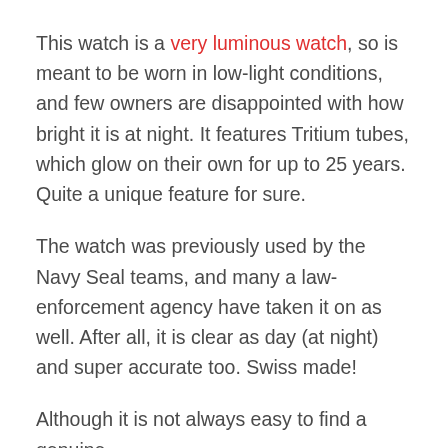This watch is a very luminous watch, so is meant to be worn in low-light conditions, and few owners are disappointed with how bright it is at night. It features Tritium tubes, which glow on their own for up to 25 years. Quite a unique feature for sure.
The watch was previously used by the Navy Seal teams, and many a law-enforcement agency have taken it on as well. After all, it is clear as day (at night) and super accurate too. Swiss made!
Although it is not always easy to find a genuine